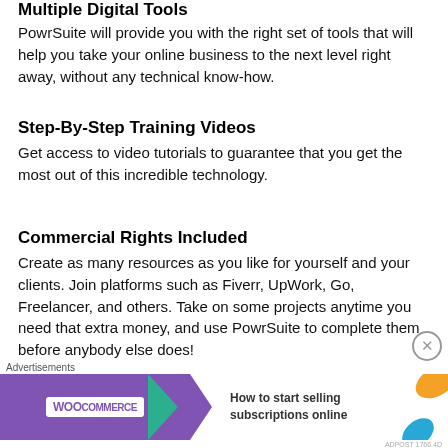Multiple Digital Tools
PowrSuite will provide you with the right set of tools that will help you take your online business to the next level right away, without any technical know-how.
Step-By-Step Training Videos
Get access to video tutorials to guarantee that you get the most out of this incredible technology.
Commercial Rights Included
Create as many resources as you like for yourself and your clients. Join platforms such as Fiverr, UpWork, Go, Freelancer, and others. Take on some projects anytime you need that extra money, and use PowrSuite to complete them before anybody else does!
[Figure (screenshot): WooCommerce advertisement banner: 'How to start selling subscriptions online']